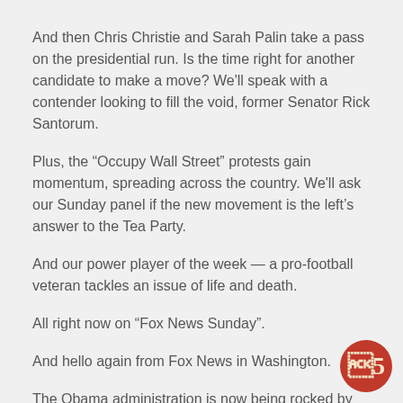And then Chris Christie and Sarah Palin take a pass on the presidential run. Is the time right for another candidate to make a move? We'll speak with a contender looking to fill the void, former Senator Rick Santorum.
Plus, the “Occupy Wall Street” protests gain momentum, spreading across the country. We'll ask our Sunday panel if the new movement is the left’s answer to the Tea Party.
And our power player of the week — a pro-football veteran tackles an issue of life and death.
All right now on “Fox News Sunday”.
And hello again from Fox News in Washington.
The Obama administration is now being rocked by two scandals — “Operation Fast and Furious” and the awarding of a half billion dollar loan guarantee to Solyndra, a solar panel company that went bankrupt.